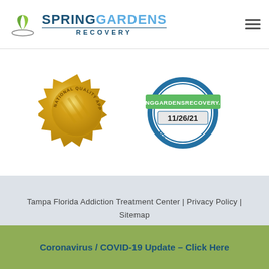[Figure (logo): Spring Gardens Recovery logo with green leaf icon and teal/blue text]
[Figure (other): National Quality Approval gold medallion badge]
[Figure (other): springgardensrecovery.com monitored badge dated 11/26/21 with blue seal]
Tampa Florida Addiction Treatment Center | Privacy Policy | Sitemap
© 2022 Spring Gardens Recovery | All Rights Reserved
Coronavirus / COVID-19 Update – Click Here